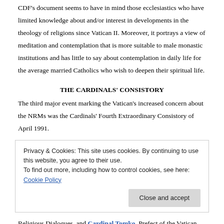CDF's document seems to have in mind those ecclesiastics who have limited knowledge about and/or interest in developments in the theology of religions since Vatican II. Moreover, it portrays a view of meditation and contemplation that is more suitable to male monastic institutions and has little to say about contemplation in daily life for the average married Catholics who wish to deepen their spiritual life.
THE CARDINALS' CONSISTORY
The third major event marking the Vatican's increased concern about the NRMs was the Cardinals' Fourth Extraordinary Consistory of April 1991.
Privacy & Cookies: This site uses cookies. By continuing to use this website, you agree to their use.
To find out more, including how to control cookies, see here: Cookie Policy
Close and accept
Religious Dialogues, and Cardinal Tomko, Prefect of the Vatican